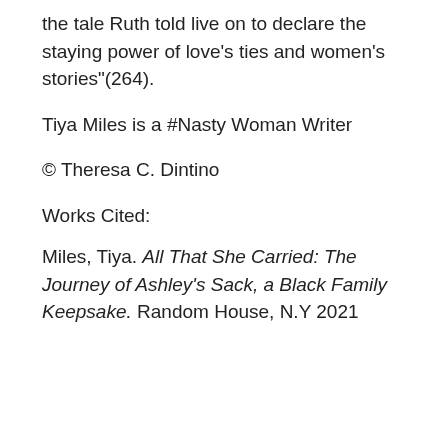the tale Ruth told live on to declare the staying power of love's ties and women's stories”(264).
Tiya Miles is a #Nasty Woman Writer
© Theresa C. Dintino
Works Cited:
Miles, Tiya. All That She Carried: The Journey of Ashley’s Sack, a Black Family Keepsake. Random House, N.Y 2021